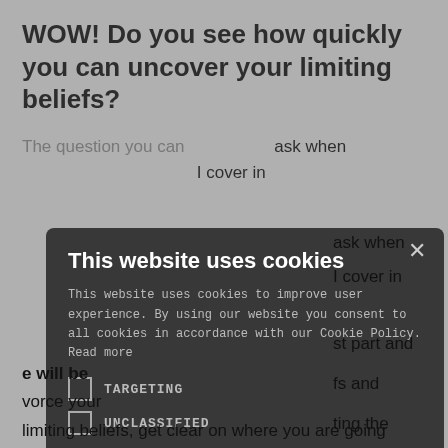WOW! Do you see how quickly you can uncover your limiting beliefs?
...ask when ...I cover in
[Figure (screenshot): Cookie consent modal dialog with dark background. Contains title 'This website uses cookies', body text about cookies policy, two unchecked checkboxes for TARGETING and UNCLASSIFIED, ACCEPT ALL and DECLINE ALL buttons, SHOW DETAILS link, and POWERED BY COOKIE-SCRIPT footer. A close X button is in the top right.]
...st part and ...fs and ...ting the ...e will be ...vorce your limiting beliefs, get clear on where you are going